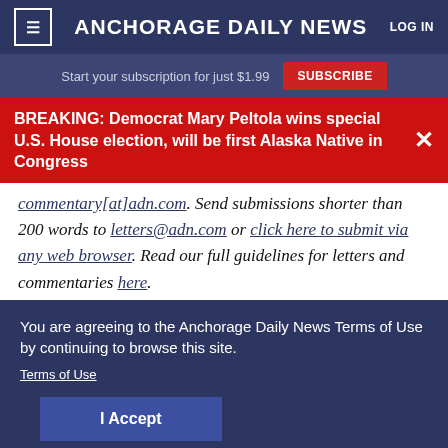≡  ANCHORAGE DAILY NEWS  LOG IN
Start your subscription for just $1.99  SUBSCRIBE
BREAKING: Democrat Mary Peltola wins special U.S. House election, will be first Alaska Native in Congress
commentary[at]adn.com. Send submissions shorter than 200 words to letters@adn.com or click here to submit via any web browser. Read our full guidelines for letters and commentaries here.
You are agreeing to the Anchorage Daily News Terms of Use by continuing to browse this site.
Terms of Use
I Accept